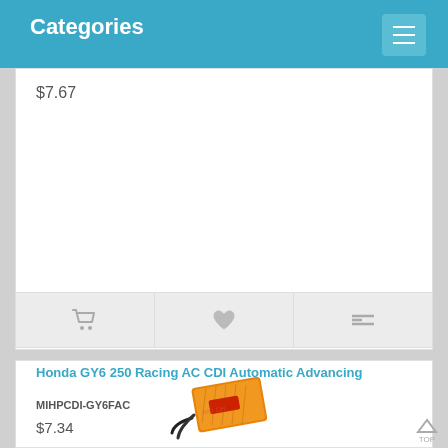Categories
$7.67
[Figure (screenshot): Action bar with cart icon, heart/wishlist icon, and compare icon on grey background]
[Figure (photo): Orange Honda GY6 250 Racing AC CDI Automatic Advancing unit with black wires, watermarked product photo]
Honda GY6 250 Racing AC CDI Automatic Advancing
MIHPCDI-GY6FAC
This is a high performance CDI designed to increase your acceleration and performance. A simple "plug and play" switch of your CDI is all it takes f..
$7.34